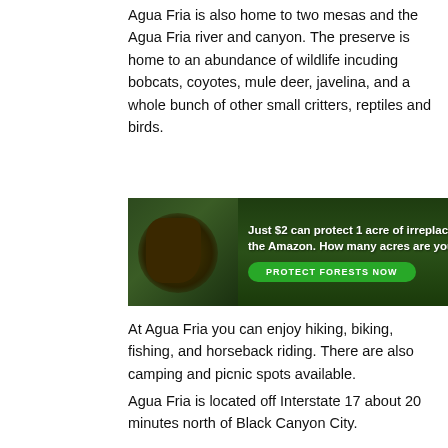Agua Fria is also home to two mesas and the Agua Fria river and canyon. The preserve is home to an abundance of wildlife incuding bobcats, coyotes, mule deer, javelina, and a whole bunch of other small critters, reptiles and birds.
[Figure (infographic): Advertisement banner with dark green forest background showing a bird silhouette on left, text 'Just $2 can protect 1 acre of irreplaceable fo[rest in] the Amazon. How many acres are you willin[g to protect?]' and a green 'PROTECT FORESTS NOW' button.]
At Agua Fria you can enjoy hiking, biking, fishing, and horseback riding. There are also camping and picnic spots available.
Agua Fria is located off Interstate 17 about 20 minutes north of Black Canyon City.
[Figure (photo): Advertisement or photo showing cargo being loaded onto an airplane with orange freight boxes visible on the tarmac.]